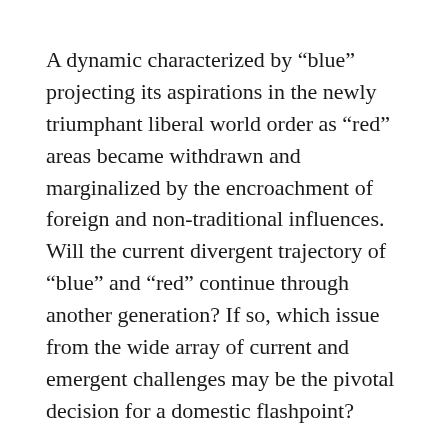A dynamic characterized by “blue” projecting its aspirations in the newly triumphant liberal world order as “red” areas became withdrawn and marginalized by the encroachment of foreign and non-traditional influences. Will the current divergent trajectory of “blue” and “red” continue through another generation? If so, which issue from the wide array of current and emergent challenges may be the pivotal decision for a domestic flashpoint?
In recent memory, exploring the nexus of regional grievances, cultural separation, political power and their consequences is an indulgent perspective America chooses when looking